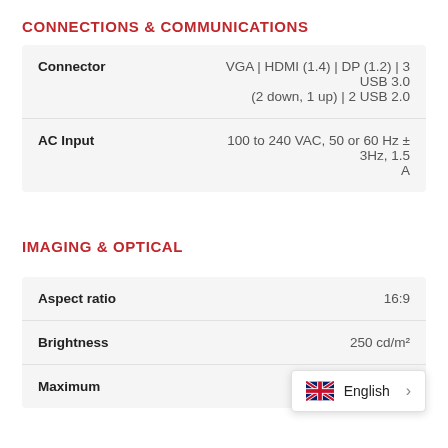CONNECTIONS & COMMUNICATIONS
| Feature | Value |
| --- | --- |
| Connector | VGA | HDMI (1.4) | DP (1.2) | 3 USB 3.0 (2 down, 1 up) | 2 USB 2.0 |
| AC Input | 100 to 240 VAC, 50 or 60 Hz ± 3Hz, 1.5 A |
IMAGING & OPTICAL
| Feature | Value |
| --- | --- |
| Aspect ratio | 16:9 |
| Brightness | 250 cd/m² |
| Maximum | Full HD ...s |
English